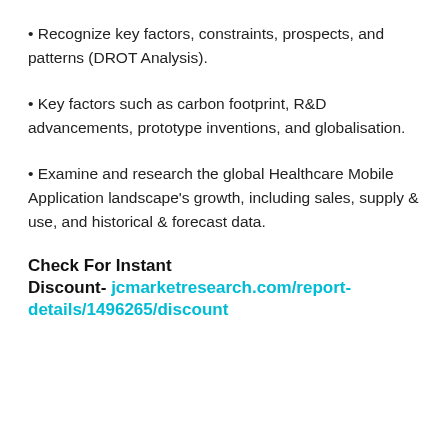• Recognize key factors, constraints, prospects, and patterns (DROT Analysis).
• Key factors such as carbon footprint, R&D advancements, prototype inventions, and globalisation.
• Examine and research the global Healthcare Mobile Application landscape's growth, including sales, supply & use, and historical & forecast data.
Check For Instant Discount- jcmarketresearch.com/report-details/1496265/discount